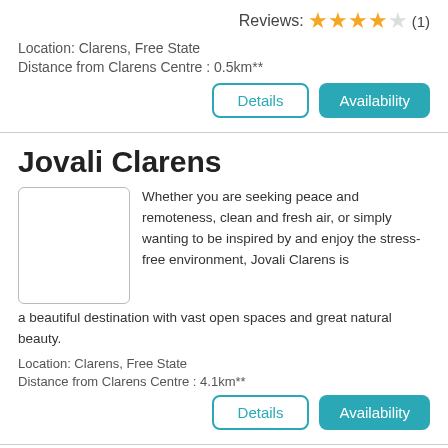Reviews: ★★★★☆ (1)
Location: Clarens, Free State
Distance from Clarens Centre : 0.5km**
Details | Availability
Jovali Clarens
Whether you are seeking peace and remoteness, clean and fresh air, or simply wanting to be inspired by and enjoy the stress-free environment, Jovali Clarens is a beautiful destination with vast open spaces and great natural beauty.
Location: Clarens, Free State
Distance from Clarens Centre : 4.1km**
Details | Availability